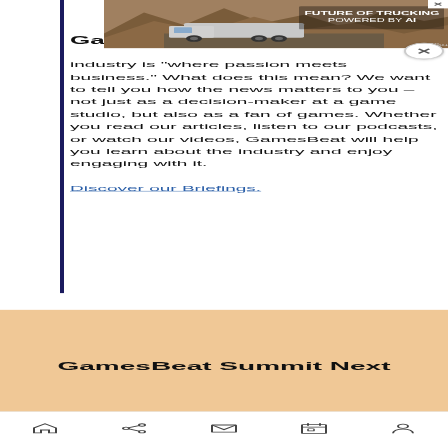[Figure (screenshot): Advertisement banner for 'Future of Trucking Powered by AI' showing a truck on a desert road with mountains in the background. Has a close button (X) in top-right corner.]
Ga[mesBeat's mission in the games industry is "where passion meets business." What does this mean? We want to tell you how the news matters to you – not just as a decision-maker at a game studio, but also as a fan of games. Whether you read our articles, listen to our podcasts, or watch our videos, GamesBeat will help you learn about the industry and enjoy engaging with it.
Discover our Briefings.
GamesBeat Summit Next
Home Share Mail Calendar Profile